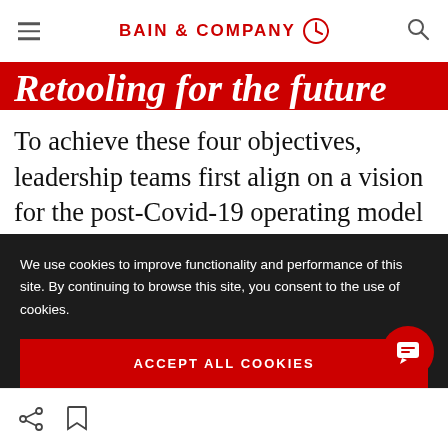BAIN & COMPANY
Retooling for the future
To achieve these four objectives, leadership teams first align on a vision for the post-Covid-19 operating model and organization. The next step is making sure each business unit has the capability to deliver changes from the bottom up—by country, commodity or operation.
We use cookies to improve functionality and performance of this site. By continuing to browse this site, you consent to the use of cookies.
ACCEPT ALL COOKIES